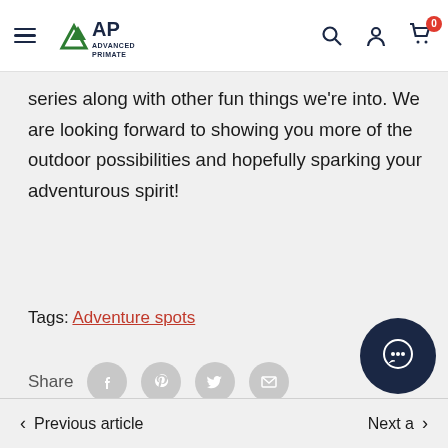Advanced Primate — navigation bar with logo, hamburger menu, search, account, and cart (0 items)
series along with other fun things we're into. We are looking forward to showing you more of the outdoor possibilities and hopefully sparking your adventurous spirit!
Tags: Adventure spots
Share
Previous article
Next article